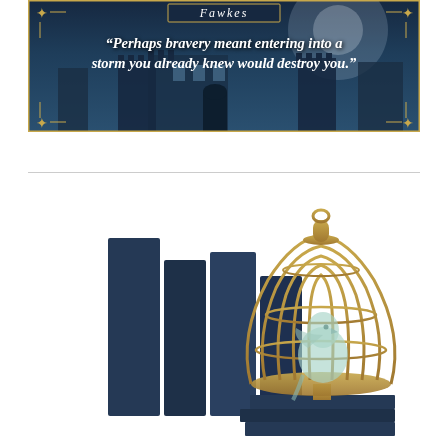[Figure (illustration): Book quote banner with dark blue castle/tower of London background, decorative gold border corners, title 'Fawkes' in stylized font, and quote: 'Perhaps bravery meant entering into a storm you already knew would destroy you.']
[Figure (illustration): Decorative illustration of dark navy blue book spines/stacked books on the left, and a gold birdcage with a light teal/mint bird silhouette inside on the right, with stacked books beneath the cage.]